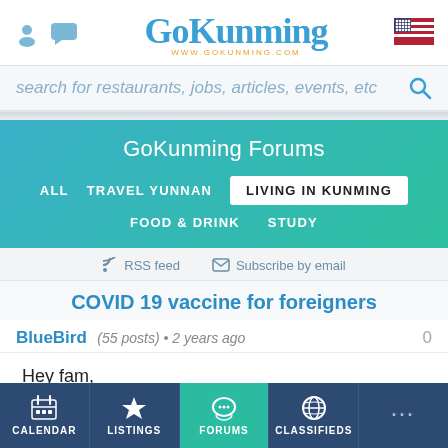GoKunming — www.gokunming.com
search for restaurants, jobs, articles, events, etc
GoKunming Forums
ALL   TRAVEL YUNNAN   LIVING IN KUNMING   FOOD & DRINK   STUDY
RSS feed   Subscribe by email
COVID 19 vaccine for foreigners
BlueBird (55 posts) • 2 years ago
Hey fam,

Anyone had experience? Where could we get one?
CALENDAR   LISTINGS   FORUMS   CLASSIFIEDS   ...